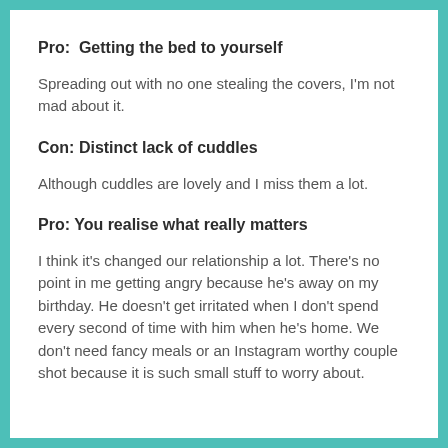Pro:  Getting the bed to yourself
Spreading out with no one stealing the covers, I'm not mad about it.
Con: Distinct lack of cuddles
Although cuddles are lovely and I miss them a lot.
Pro: You realise what really matters
I think it's changed our relationship a lot. There's no point in me getting angry because he's away on my birthday. He doesn't get irritated when I don't spend every second of time with him when he's home. We don't need fancy meals or an Instagram worthy couple shot because it is such small stuff to worry about.